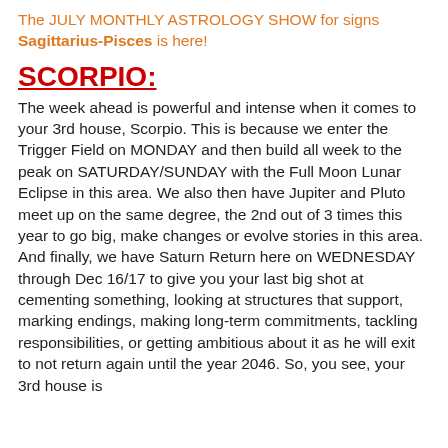The JULY MONTHLY ASTROLOGY SHOW for signs Sagittarius-Pisces is here!
SCORPIO:
The week ahead is powerful and intense when it comes to your 3rd house, Scorpio. This is because we enter the Trigger Field on MONDAY and then build all week to the peak on SATURDAY/SUNDAY with the Full Moon Lunar Eclipse in this area. We also then have Jupiter and Pluto meet up on the same degree, the 2nd out of 3 times this year to go big, make changes or evolve stories in this area. And finally, we have Saturn Return here on WEDNESDAY through Dec 16/17 to give you your last big shot at cementing something, looking at structures that support, marking endings, making long-term commitments, tackling responsibilities, or getting ambitious about it as he will exit to not return again until the year 2046. So, you see, your 3rd house is